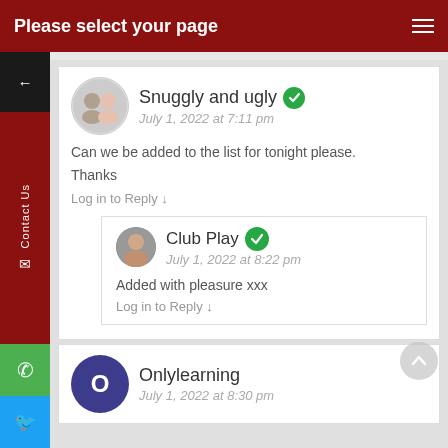Please select your page
Snuggly and ugly
July 1, 2022 at 7:11 pm
Can we be added to the list for tonight please.
Thanks
Log in to Reply ↓
Club Play
July 1, 2022 at 8:22 pm
Added with pleasure xxx
Log in to Reply ↓
Onlylearning
July 1, 2022 at 8:30 pm